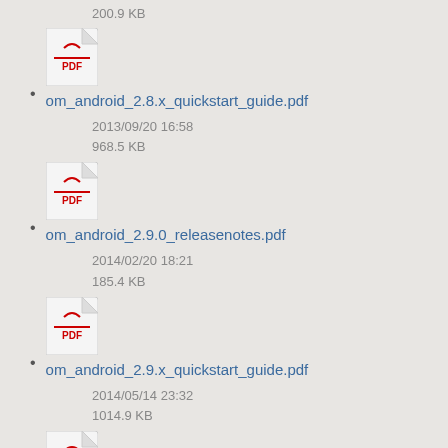200.9 KB
om_android_2.8.x_quickstart_guide.pdf
2013/09/20 16:58
968.5 KB
om_android_2.9.0_releasenotes.pdf
2014/02/20 18:21
185.4 KB
om_android_2.9.x_quickstart_guide.pdf
2014/05/14 23:32
1014.9 KB
om_android_2.10.0.700_releasenotes.pdf